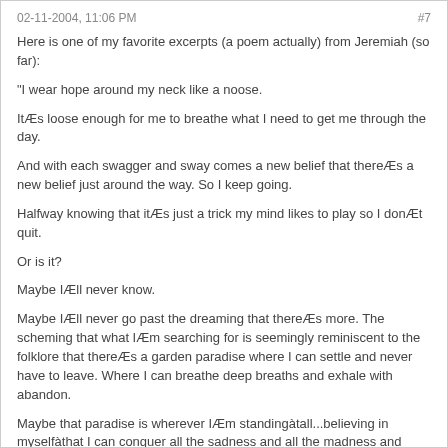02-11-2004, 11:06 PM	#7
Here is one of my favorite excerpts (a poem actually) from Jeremiah (so far):
"I wear hope around my neck like a noose.
ItÆs loose enough for me to breathe what I need to get me through the day.
And with each swagger and sway comes a new belief that thereÆs a new belief just around the way. So I keep going.
Halfway knowing that itÆs just a trick my mind likes to play so I donÆt quit.
Or is it?
Maybe IÆll never know.
Maybe IÆll never go past the dreaming that thereÆs more. The scheming that what IÆm searching for is seemingly reminiscent to the folklore that thereÆs a garden paradise where I can settle and never have to leave. Where I can breathe deep breaths and exhale with abandon.
Maybe that paradise is wherever IÆm standingàtall...believing in myselfàthat I can conquer all the sadness and all the madness and have a ball wherever I go.